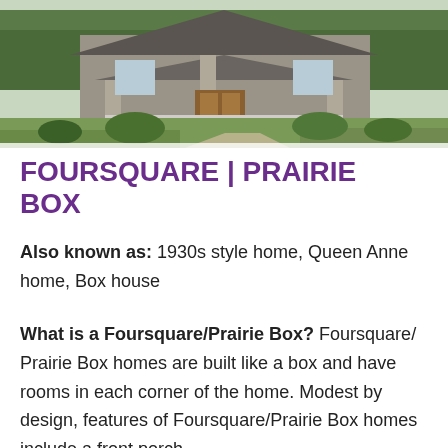[Figure (photo): Exterior photo of a Foursquare/Prairie Box style home with a covered front porch, stone columns, and landscaping in the foreground]
FOURSQUARE | PRAIRIE BOX
Also known as: 1930s style home, Queen Anne home, Box house
What is a Foursquare/Prairie Box? Foursquare/ Prairie Box homes are built like a box and have rooms in each corner of the home. Modest by design, features of Foursquare/Prairie Box homes include a front porch